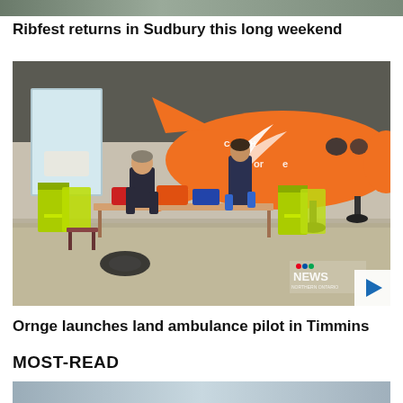[Figure (photo): Top of page partial photo strip, cropped]
Ribfest returns in Sudbury this long weekend
[Figure (photo): Photo of two paramedics in a hangar working at a table, with a large orange aircraft (Ornge air ambulance, registration C-GRXH) in the background. High-visibility yellow jackets hang on chairs. CTV News Northern Ontario watermark in bottom right corner.]
Ornge launches land ambulance pilot in Timmins
MOST-READ
[Figure (photo): Partial photo at bottom of page, cropped]